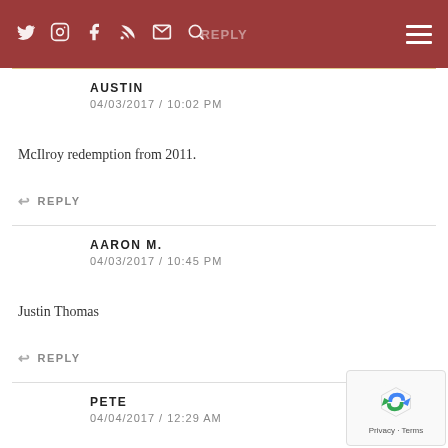Social media icons navigation bar with hamburger menu
AUSTIN
04/03/2017 / 10:02 PM
McIlroy redemption from 2011.
REPLY
AARON M.
04/03/2017 / 10:45 PM
Justin Thomas
REPLY
PETE
04/04/2017 / 12:29 AM